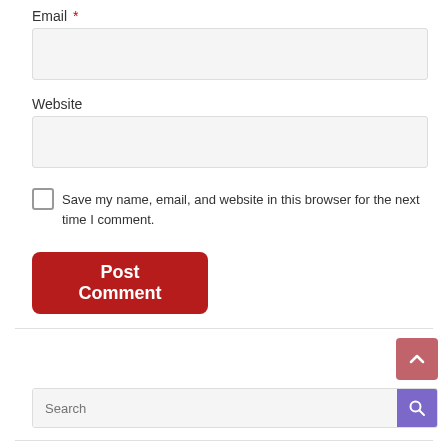Email *
[Figure (screenshot): Empty email input field with light gray background]
Website
[Figure (screenshot): Empty website input field with light gray background]
Save my name, email, and website in this browser for the next time I comment.
[Figure (screenshot): Post Comment button in dark red with rounded corners]
[Figure (screenshot): Back to top arrow button in pinkish-red]
[Figure (screenshot): Search input field with purple search button]